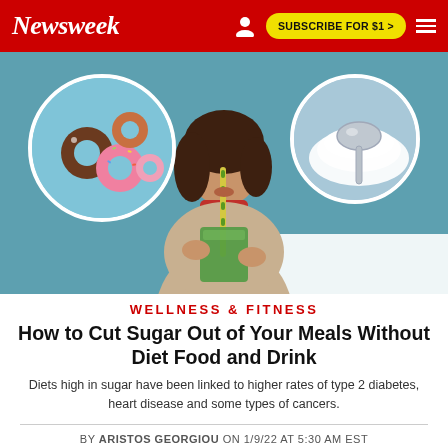Newsweek | SUBSCRIBE FOR $1 >
[Figure (photo): Hero image: Woman drinking from a straw in a green drink, flanked by two circular inset images — left circle shows colorful donuts on blue background, right circle shows a spoon with sugar on blue background.]
WELLNESS & FITNESS
How to Cut Sugar Out of Your Meals Without Diet Food and Drink
Diets high in sugar have been linked to higher rates of type 2 diabetes, heart disease and some types of cancers.
BY ARISTOS GEORGIOU ON 1/9/22 AT 5:30 AM EST